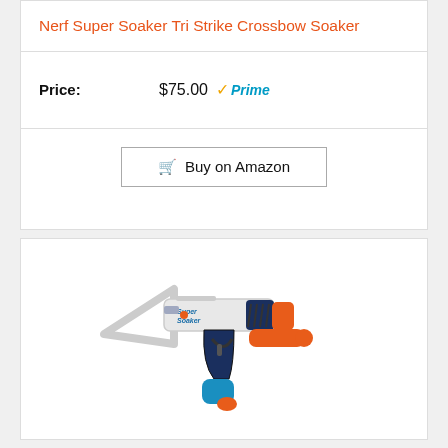Nerf Super Soaker Tri Strike Crossbow Soaker
Price: $75.00 Prime
Buy on Amazon
[Figure (photo): Nerf Super Soaker Tri Strike Crossbow water gun toy in white, blue, and orange colors]